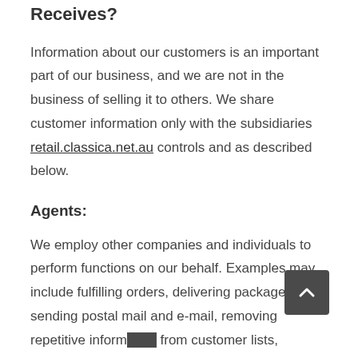Receives?
Information about our customers is an important part of our business, and we are not in the business of selling it to others. We share customer information only with the subsidiaries retail.classica.net.au controls and as described below.
Agents:
We employ other companies and individuals to perform functions on our behalf. Examples may include fulfilling orders, delivering packages, sending postal mail and e-mail, removing repetitive information from customer lists, analysing data, providing